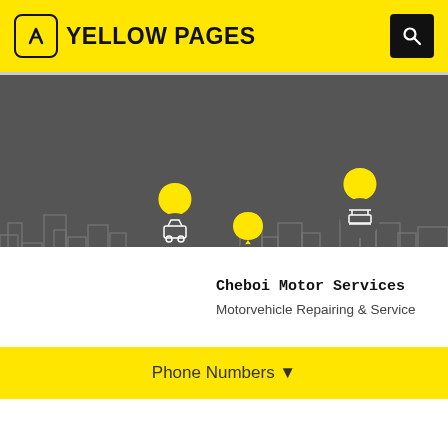YELLOW PAGES
[Figure (illustration): Yellow Pages hero banner with dark gray city skyline background, three yellow map pin markers with automotive service icons (car, brake/wheel, car service), connected by a yellow dashed path line]
Cheboi Motor Services
Motorvehicle Repairing & Service
Phone Numbers ▼